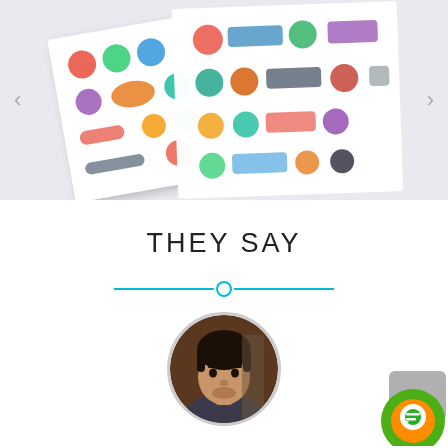[Figure (photo): Open brochure or portfolio book lying at an angle on a light lavender-gray background, showing multiple colorful company logos on its pages. Navigation arrows on left and right sides.]
THEY SAY
[Figure (illustration): Horizontal cyan divider line with a small circle in the center, acting as a decorative separator.]
[Figure (photo): Circular avatar photo of a young man with dark hair and light stubble, shown from shoulders up.]
[Figure (illustration): Chat/support widget in bottom right corner: green circle with orange inner circle and white chat icon, overlapping a gray rectangle.]